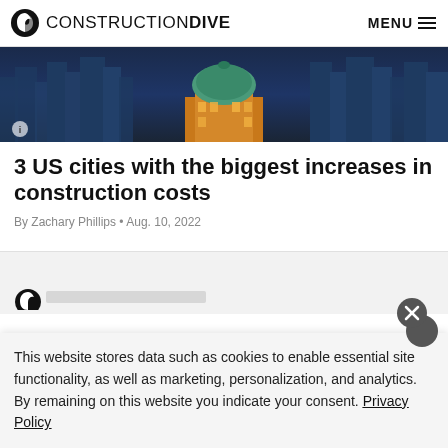CONSTRUCTION DIVE  MENU
[Figure (photo): Aerial/city skyline photo with buildings at dusk/night, blue tones, shows top of a domed or ornate building in foreground against city skyscrapers]
3 US cities with the biggest increases in construction costs
By Zachary Phillips • Aug. 10, 2022
This website stores data such as cookies to enable essential site functionality, as well as marketing, personalization, and analytics. By remaining on this website you indicate your consent. Privacy Policy